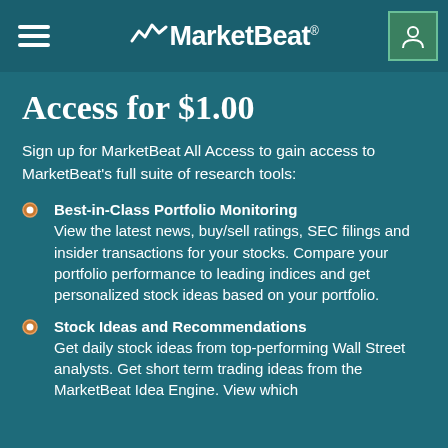MarketBeat
Access for $1.00
Sign up for MarketBeat All Access to gain access to MarketBeat's full suite of research tools:
Best-in-Class Portfolio Monitoring
View the latest news, buy/sell ratings, SEC filings and insider transactions for your stocks. Compare your portfolio performance to leading indices and get personalized stock ideas based on your portfolio.
Stock Ideas and Recommendations
Get daily stock ideas from top-performing Wall Street analysts. Get short term trading ideas from the MarketBeat Idea Engine. View which